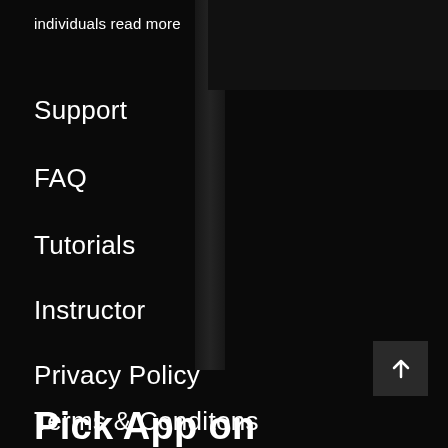individuals read more
Support
FAQ
Tutorials
Instructor
Privacy Policy
Terms & Conditons
Pick App on